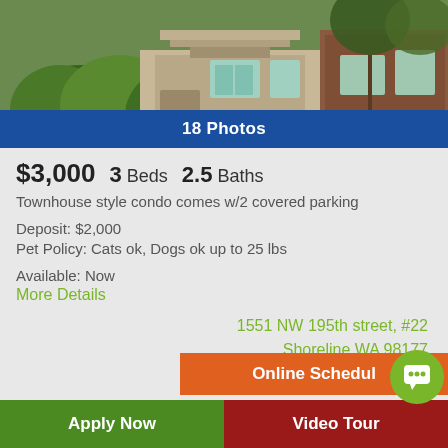[Figure (photo): Exterior photo of a townhouse/condo with brick facade, green foliage, and trees in the front]
18 Photos
$3,000   3 Beds   2.5 Baths
Townhouse style condo comes w/2 covered parking
Deposit: $2,000
Pet Policy: Cats ok, Dogs ok up to 25 lbs
Available: Now
More Details
1551 NW 195th street, #22
Shoreline WA 98177
Online Schedule
Apply Now
Video Tour